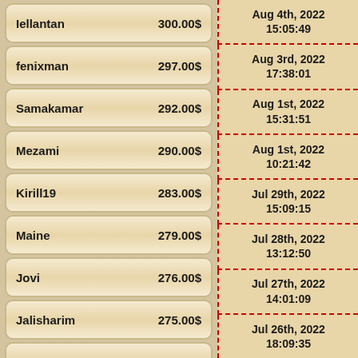| Name | Amount | Date/Time |
| --- | --- | --- |
| Iellantan | 300.00$ | Aug 4th, 2022 15:05:49 |
| fenixman | 297.00$ | Aug 3rd, 2022 17:38:01 |
| Samakamar | 292.00$ | Aug 1st, 2022 15:31:51 |
| Mezami | 290.00$ | Aug 1st, 2022 10:21:42 |
| Kirill19 | 283.00$ | Aug 1st, 2022 10:21:42 |
| Maine | 279.00$ | Jul 29th, 2022 15:09:15 |
| Jovi | 276.00$ | Jul 28th, 2022 13:12:50 |
| Jalisharim | 275.00$ | Jul 27th, 2022 14:01:09 |
| Petr78 | 270.00$ | Jul 27th, 2022 14:01:09 |
| arhimed36 | 261.00$ | Jul 26th, 2022 18:09:35 |
| N... | 250.00$ |  |